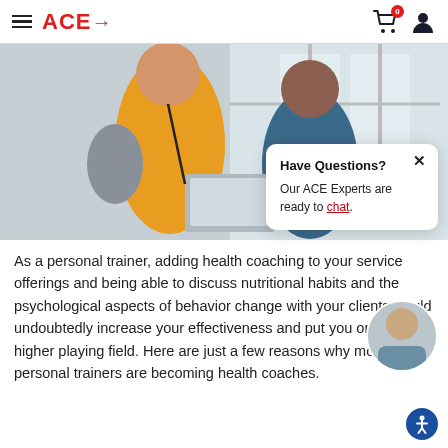ACE→
[Figure (photo): A male personal trainer in a yellow shirt showing a tablet to a female client in a blue top, both smiling, in a gym setting with large windows.]
As a personal trainer, adding health coaching to your service offerings and being able to discuss nutritional habits and the psychological aspects of behavior change with your clients would undoubtedly increase your effectiveness and put you on a much higher playing field. Here are just a few reasons why more personal trainers are becoming health coaches.